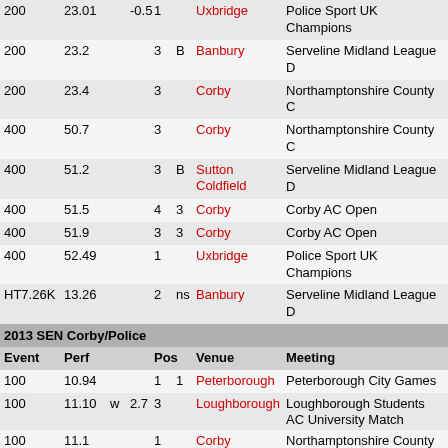| Event | Perf |  |  | Pos |  | Venue | Meeting |
| --- | --- | --- | --- | --- | --- | --- | --- |
| 200 | 23.01 |  | -0.5 | 1 |  | Uxbridge | Police Sport UK Champions |
| 200 | 23.2 |  |  | 3 | B | Banbury | Serveline Midland League D |
| 200 | 23.4 |  |  | 3 |  | Corby | Northamptonshire County C |
| 400 | 50.7 |  |  | 3 |  | Corby | Northamptonshire County C |
| 400 | 51.2 |  |  | 3 | B | Sutton Coldfield | Serveline Midland League D |
| 400 | 51.5 |  |  | 4 | 3 | Corby | Corby AC Open |
| 400 | 51.9 |  |  | 3 | 3 | Corby | Corby AC Open |
| 400 | 52.49 |  |  | 1 |  | Uxbridge | Police Sport UK Champions |
| HT7.26K | 13.26 |  |  | 2 | ns | Banbury | Serveline Midland League D |
2013 SEN Corby/Police
| Event | Perf |  |  | Pos |  | Venue | Meeting |
| --- | --- | --- | --- | --- | --- | --- | --- |
| 100 | 10.94 |  |  | 1 | 1 | Peterborough | Peterborough City Games |
| 100 | 11.10 | w | 2.7 | 3 |  | Loughborough | Loughborough Students AC University Match |
| 100 | 11.1 |  |  | 1 |  | Corby | Northamptonshire County C |
| 100 | 11.1 |  |  | 1 | 7 | Corby | Corby AC Open |
| 100 | 11.2 |  |  | 2 | A | Newport | Plastics Plus Midland Leagu |
| 100 | 11.4 |  |  | 2 | A | Corby | Plastics Plus Midland Leagu |
| 100 | 11.5 |  |  | 1 |  | Cheltenham | Police Sport UK Athletics Ch |
| 200 | 22.62 |  | 0.9 | 1 |  | Loughborough | Loughborough Students AC University Match |
| 200 | 22.8 |  |  | 1 |  | Cheltenham | Police Sport UK Athletics Ch |
| 200 | 22.9 |  |  | 2 | A | Newport | Plastics Plus Midland Leagu |
| 400 | 49.65 |  |  | 1 | 1 | Peterborough | Peterborough City Games |
2012 SEN Corby/Police